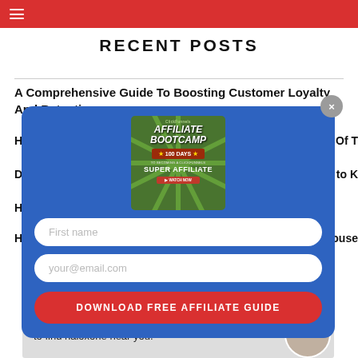RECENT POSTS
A Comprehensive Guide To Boosting Customer Loyalty And Retention
H... features Of T...
D... Need to K...
H...
H... owerhouse
[Figure (screenshot): Modal popup with blue background showing an 'Affiliate Bootcamp - 100 Days to Becoming a ClickFunnels Super Affiliate' book cover, a First name input field, a your@email.com input field, and a red 'DOWNLOAD FREE AFFILIATE GUIDE' button with a close (x) button in top right corner]
[Figure (photo): Advertisement strip at the bottom showing text 'to find naloxone near you.' with an avatar of a woman on the right side]